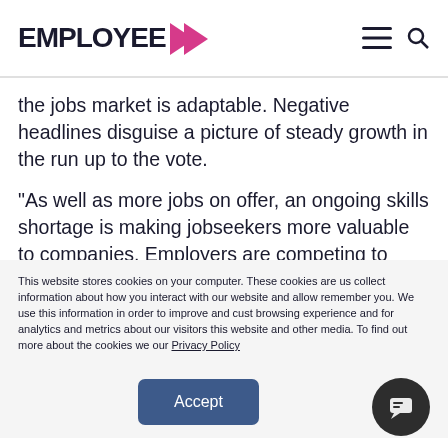EMPLOYEE >
the jobs market is adaptable. Negative headlines disguise a picture of steady growth in the run up to the vote.
“As well as more jobs on offer, an ongoing skills shortage is making jobseekers more valuable to companies. Employers are competing to snap up those with the right skills, giving applicants more
This website stores cookies on your computer. These cookies are us collect information about how you interact with our website and allow remember you. We use this information in order to improve and cust browsing experience and for analytics and metrics about our visitors this website and other media. To find out more about the cookies we our Privacy Policy